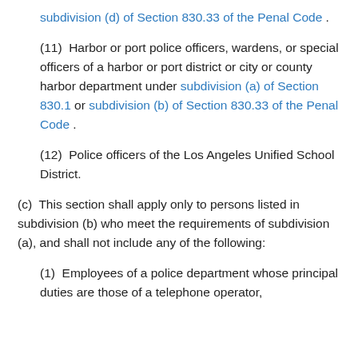subdivision (d) of Section 830.33 of the Penal Code .
(11)  Harbor or port police officers, wardens, or special officers of a harbor or port district or city or county harbor department under subdivision (a) of Section 830.1 or subdivision (b) of Section 830.33 of the Penal Code .
(12)  Police officers of the Los Angeles Unified School District.
(c)  This section shall apply only to persons listed in subdivision (b) who meet the requirements of subdivision (a), and shall not include any of the following:
(1)  Employees of a police department whose principal duties are those of a telephone operator,